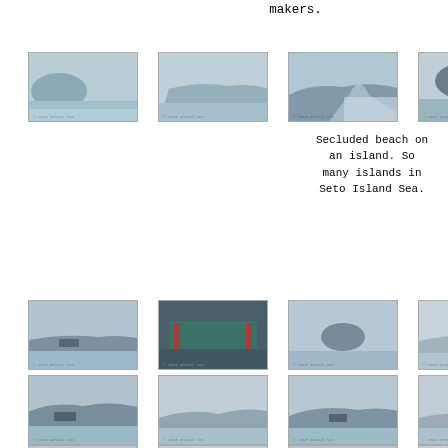makers.
[Figure (photo): Coastal view with island and water]
[Figure (photo): Open sea with distant mountains]
[Figure (photo): Boat wake on water with island]
[Figure (photo): Small island in calm sea]
Secluded beach on an island. So many islands in Seto Island Sea.
[Figure (photo): Ship in wide sea with mountains]
[Figure (photo): Ferry deck with green railings]
[Figure (photo): Rocky island in sea]
[Figure (photo): Distant coastline and sea]
[Figure (photo): Large ship near mountainous island]
[Figure (photo): Mountain silhouette over water]
[Figure (photo): Ship with cargo on sea]
[Figure (photo): Hazy coastal mountains]
[Figure (photo): Partial coastal view]
[Figure (photo): Partial sea view]
[Figure (photo): Partial island view]
[Figure (photo): Partial hazy view]